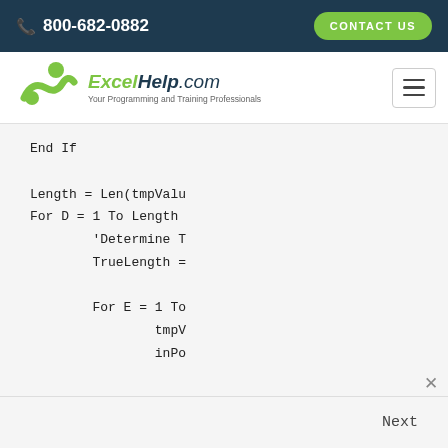800-682-0882  CONTACT US
[Figure (logo): ExcelHelp.com logo with green figure and tagline 'Your Programming and Training Professionals']
End If

Length = Len(tmpValu
For D = 1 To Length
    'Determine T
    TrueLength =

For E = 1 To
    tmpV
    inPo
We've really enjoyed working with Excel Help as they have taken the ideas from our team and transformed...
Nic Niebel
-
Next